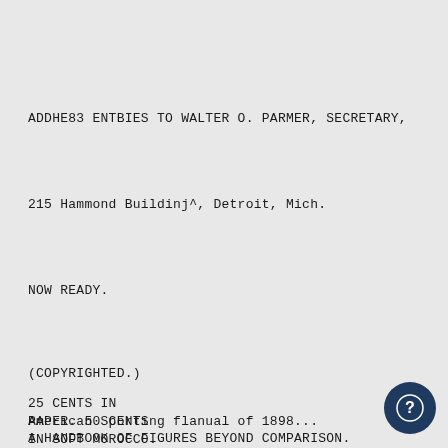ADDHE83 ENTBIES TO WALTER O. PARMER, SECRETARY,
215 Hammond Buildinj^, Detroit, Mich.
NOW READY.
(COPYRIGHTED.)
25 CENTS IN PAPER. 50 CENTS IN SOFT MOROCCO.
American Sporting flanual of 1898...
A HANDBOOK OF FIGURES BEYOND COMPARISON.